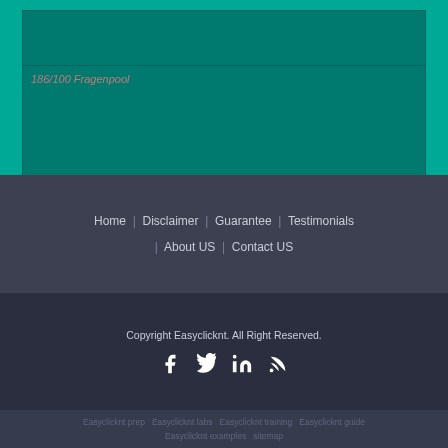[Figure (screenshot): Teal/green header section with a darker inner box and breadcrumb text reading '186/100 Fragenpool']
186/100 Fragenpool
Home | Disclaimer | Guarantee | Testimonials | About US | Contact US
Copyright Easyclicknt. All Right Reserved.
[Figure (infographic): Social media icons: Facebook, Twitter, LinkedIn, RSS feed]
Easyclicknt prep  Easyclicknt labs  Easyclicknt training  Easyclicknt guide  Easyclicknt examples  sitemap